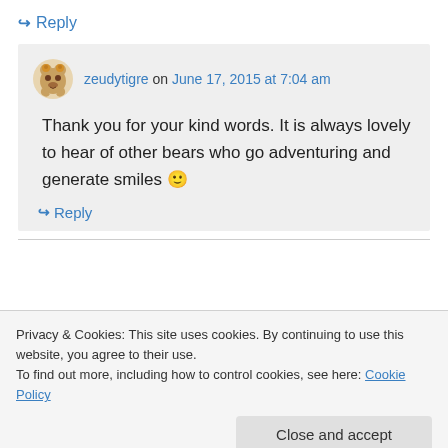↪ Reply
zeudytigre on June 17, 2015 at 7:04 am
Thank you for your kind words. It is always lovely to hear of other bears who go adventuring and generate smiles 🙂
↪ Reply
Privacy & Cookies: This site uses cookies. By continuing to use this website, you agree to their use. To find out more, including how to control cookies, see here: Cookie Policy
Close and accept